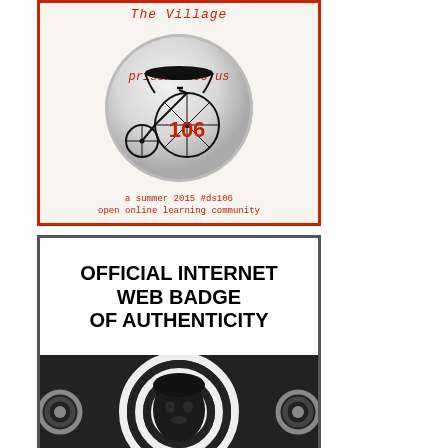[Figure (illustration): A promotional badge/button image with red border on cream background. Shows a circular pin badge with 'prisoner106.us' text in orange, a penny-farthing bicycle illustration in black, and the number '106' in orange. Below the circle: 'a summer 2015 #ds106' and 'open online learning community' in orange courier-style text. The image title at top reads 'The Village' in orange italic.]
[Figure (illustration): A black and white 'Official Internet Web Badge of Authenticity' image. Top portion has white background with bold black text reading 'OFFICIAL INTERNET WEB BADGE OF AUTHENTICITY'. Bottom portion shows a black and white photo of a person's face with a hypnotic spiral/swirl pattern background.]